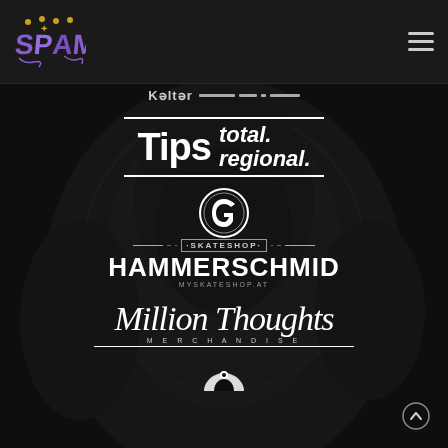[Figure (logo): SPAM graffiti-style logo in purple/gold tones, top left header]
[Figure (other): Hamburger menu icon, three horizontal lines, top right header]
Kəltər
[Figure (logo): Tips total. regional. logo — bold white text with horizontal rules above and below]
[Figure (logo): Skateshop Hammerschmid logo with circular emblem, myskateshop.at]
[Figure (logo): Million Thoughts Merchandise script logo in white on dark background]
[Figure (other): Partial logo visible at very bottom, white symmetrical shape]